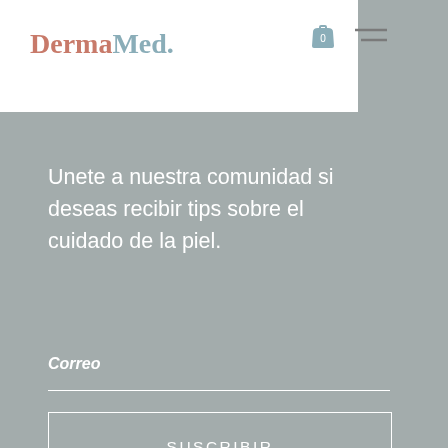DermaMed.
Unete a nuestra comunidad si deseas recibir tips sobre el cuidado de la piel.
Correo
SUSCRIBIR